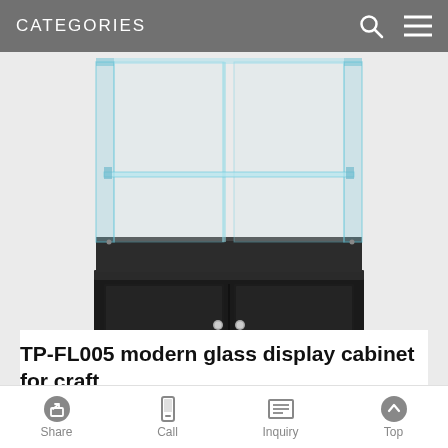CATEGORIES
[Figure (photo): Glass display cabinet with black wooden base featuring two doors with round handles, glass top section with a glass shelf, modern retail display unit (TP-FL005)]
[Figure (photo): Small thumbnail image of the same glass display cabinet]
TP-FL005 modern glass display cabinet for craft
Share  Call  Inquiry  Top